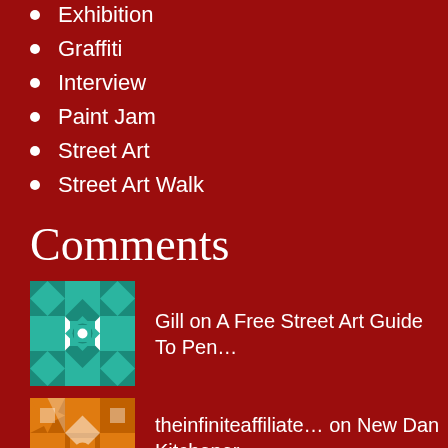Exhibition
Graffiti
Interview
Paint Jam
Street Art
Street Art Walk
Comments
Gill on A Free Street Art Guide To Pen…
theinfiniteaffiliate… on New Dan Kitchener Street Art…
SPLATZ on 2016 – A Year Of Street…